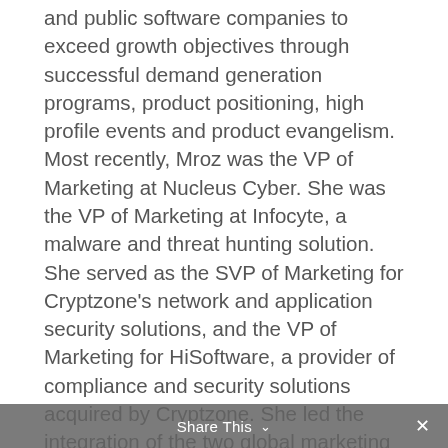and public software companies to exceed growth objectives through successful demand generation programs, product positioning, high profile events and product evangelism. Most recently, Mroz was the VP of Marketing at Nucleus Cyber. She was the VP of Marketing at Infocyte, a malware and threat hunting solution. She served as the SVP of Marketing for Cryptzone's network and application security solutions, and the VP of Marketing for HiSoftware, a provider of compliance and security solutions acquired by Cryptzone. She led the integration of the two global marketing organisations, while managing the development of all strategic marketing programs and communications for the joint
Share This ∨  ✕